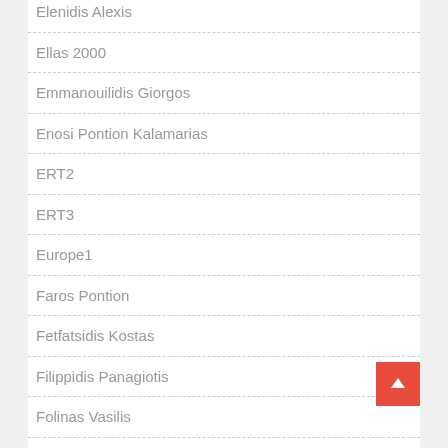Elenidis Alexis
Ellas 2000
Emmanouilidis Giorgos
Enosi Pontion Kalamarias
ERT2
ERT3
Europe1
Faros Pontion
Fetfatsidis Kostas
Filippidis Panagiotis
Folinas Vasilis
Fotiadis Giannis
Fotiadis Konstantinos